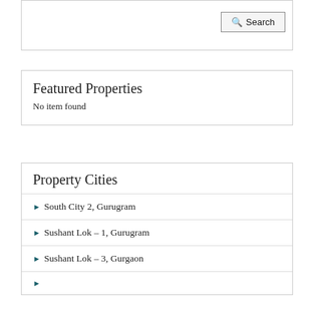[Figure (screenshot): Search button in top-right of a search box panel]
Featured Properties
No item found
Property Cities
South City 2, Gurugram
Sushant Lok – 1, Gurugram
Sushant Lok – 3, Gurgaon
...